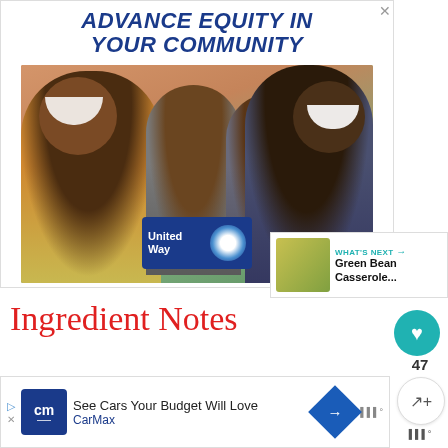[Figure (illustration): United Way advertisement banner with bold blue italic text 'ADVANCE EQUITY IN YOUR COMMUNITY' above a photo of a smiling multi-racial family of four outdoors with a United Way logo overlay. Close (X) button in top right.]
47
[Figure (illustration): What's Next panel showing a thumbnail of food (Green Bean Casserole) with teal label 'WHAT'S NEXT →' and bold text 'Green Bean Casserole...']
Ingredient Notes
[Figure (illustration): CarMax advertisement: 'See Cars Your Budget Will Love' with CarMax logo (blue CM), navigation arrow icon, and bar chart icon. Ad has close/skip arrows on left and an X at bottom.]